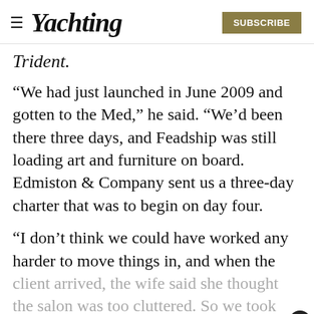≡ Yachting  SUBSCRIBE
Trident.
“We had just launched in June 2009 and gotten to the Med,” he said. “We’d been there three days, and Feadship was still loading art and furniture on board. Edmiston & Company sent us a three-day charter that was to begin on day four.
“I don’t think we could have worked any harder to move things in, and when the client arrived, the wife said she thought the salon was too cluttered. So we took everything that wasn’t nailed down and